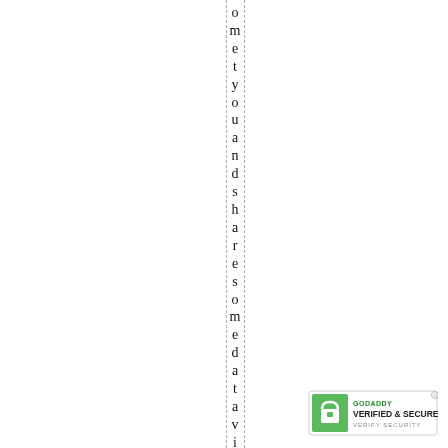ometyouandssharesomedata visual
[Figure (logo): GoDaddy Verified & Secured badge in bottom right corner]